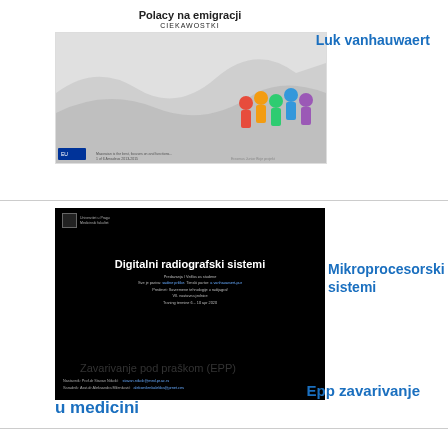[Figure (screenshot): Slide thumbnail titled 'Polacy na emigracji CIEKAWOSTKI' with colored figures and wavy design]
Luk vanhauwaert
[Figure (screenshot): Black slide titled 'Digitalni radiografski sistemi' with presenter and course details]
Mikroprocesorski sistemi
u medicini
Zavarivanje pod praškom (EPP)
Epp zavarivanje